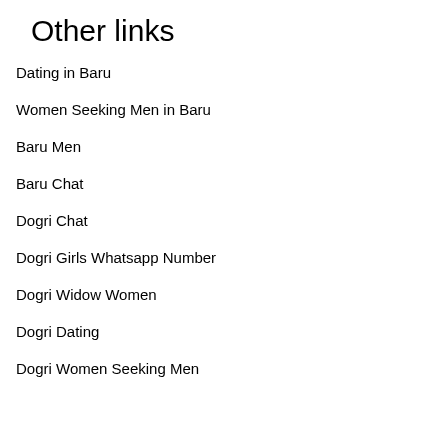Other links
Dating in Baru
Women Seeking Men in Baru
Baru Men
Baru Chat
Dogri Chat
Dogri Girls Whatsapp Number
Dogri Widow Women
Dogri Dating
Dogri Women Seeking Men